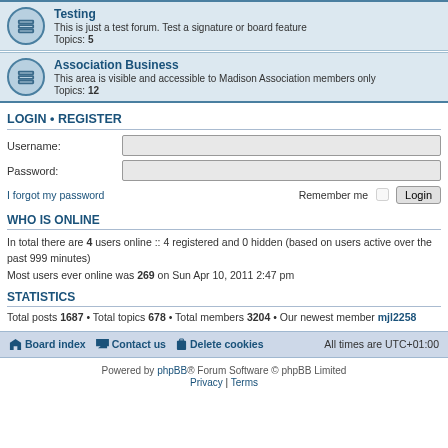Testing — This is just a test forum. Test a signature or board feature. Topics: 5
Association Business — This area is visible and accessible to Madison Association members only. Topics: 12
LOGIN • REGISTER
Username:
Password:
I forgot my password   Remember me  [checkbox]  Login
WHO IS ONLINE
In total there are 4 users online :: 4 registered and 0 hidden (based on users active over the past 999 minutes)
Most users ever online was 269 on Sun Apr 10, 2011 2:47 pm
STATISTICS
Total posts 1687 • Total topics 678 • Total members 3204 • Our newest member mjl2258
Board index  Contact us  Delete cookies  All times are UTC+01:00
Powered by phpBB® Forum Software © phpBB Limited
Privacy | Terms